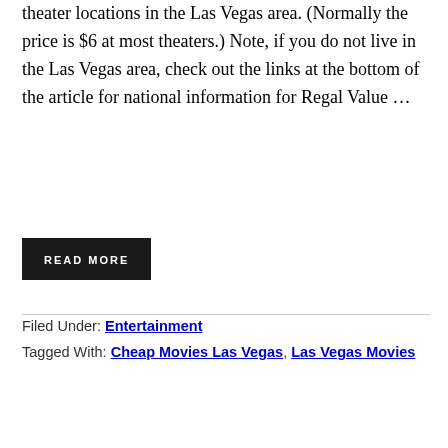theater locations in the Las Vegas area. (Normally the price is $6 at most theaters.) Note, if you do not live in the Las Vegas area, check out the links at the bottom of the article for national information for Regal Value ...
READ MORE
Filed Under: Entertainment
Tagged With: Cheap Movies Las Vegas, Las Vegas Movies